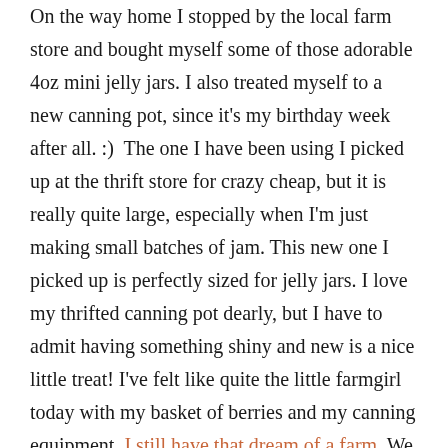On the way home I stopped by the local farm store and bought myself some of those adorable 4oz mini jelly jars. I also treated myself to a new canning pot, since it's my birthday week after all. :)  The one I have been using I picked up at the thrift store for crazy cheap, but it is really quite large, especially when I'm just making small batches of jam. This new one I picked up is perfectly sized for jelly jars. I love my thrifted canning pot dearly, but I have to admit having something shiny and new is a nice little treat! I've felt like quite the little farmgirl today with my basket of berries and my canning equipment. I still have that dream of a farm. We still look around for the right house to come along. One of these days my farmgirl dreams will be a reality, I swear it.

I made, in all, 12 mini jars of jam. I have 4 trays in my